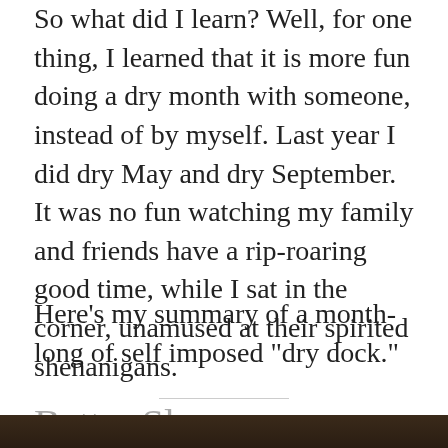So what did I learn? Well, for one thing, I learned that it is more fun doing a dry month with someone, instead of by myself. Last year I did dry May and dry September. It was no fun watching my family and friends have a rip-roaring good time, while I sat in the corner, unamused at their spirited shenanigans.
Here’s my summary of a month-long of self imposed “dry dock.”
Better Sleep
[Figure (photo): Dark photograph, predominantly very dark brown/black tones, possibly a nighttime or low-light scene.]